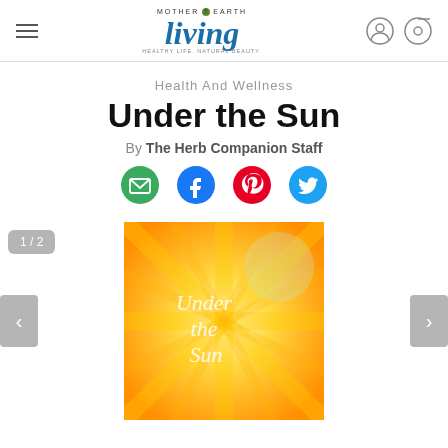Mother Earth Living — Healthy Life. Natural Beauty.
Health And Wellness
Under the Sun
By The Herb Companion Staff
[Figure (infographic): Social share icons: email (green circle), Facebook (blue circle), Pinterest (red circle), Twitter (blue bird icon)]
[Figure (illustration): Book cover image showing a sunflower illustration in warm orange and yellow tones with the text 'Under the Sun' written in white italic script. Image counter badge showing '1 / 2' in the upper left. Previous and next navigation arrows on left and right sides.]